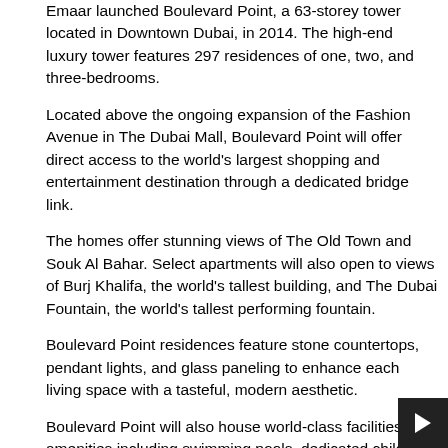Emaar launched Boulevard Point, a 63-storey tower located in Downtown Dubai, in 2014. The high-end luxury tower features 297 residences of one, two, and three-bedrooms.
Located above the ongoing expansion of the Fashion Avenue in The Dubai Mall, Boulevard Point will offer direct access to the world's largest shopping and entertainment destination through a dedicated bridge link.
The homes offer stunning views of The Old Town and Souk Al Bahar. Select apartments will also open to views of Burj Khalifa, the world's tallest building, and The Dubai Fountain, the world's tallest performing fountain.
Boulevard Point residences feature stone countertops, pendant lights, and glass paneling to enhance each living space with a tasteful, modern aesthetic.
Boulevard Point will also house world-class facilities and amenities including swimming pools, dedicated children's area, fully-equipped gymnasium, and a community-centric lawn and barbeque deck.
Residents can add value to their lifestyle with easy access to world-class retail, food and beverage, and